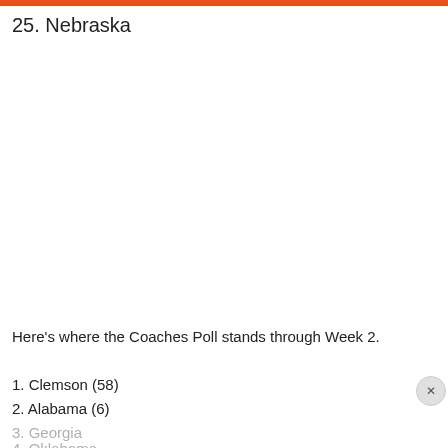25. Nebraska
Here's where the Coaches Poll stands through Week 2.
1. Clemson (58)
2. Alabama (6)
3. Georgia
4. Oklahoma